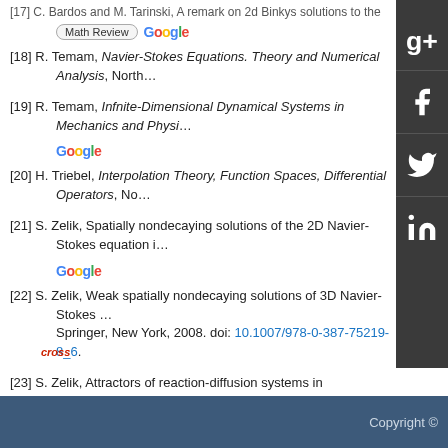[17] C. Bardos and M. Tarinski, A remark on 2d Binkys solutions to the 2D Navier-...
[18] R. Temam, Navier-Stokes Equations. Theory and Numerical Analysis, North...
[19] R. Temam, Infnite-Dimensional Dynamical Systems in Mechanics and Physi...
[20] H. Triebel, Interpolation Theory, Function Spaces, Differential Operators, No...
[21] S. Zelik, Spatially nondecaying solutions of the 2D Navier-Stokes equation i...
[22] S. Zelik, Weak spatially nondecaying solutions of 3D Navier-Stokes ... Springer, New York, 2008. doi: 10.1007/978-0-387-75219-8_6.
[23] S. Zelik, Attractors of reaction-diffusion systems in unbounded doma...
[24] S. Zelik, Infinite energy solutions for damped Navier-Stokes equation...
show all references
Copyright ©